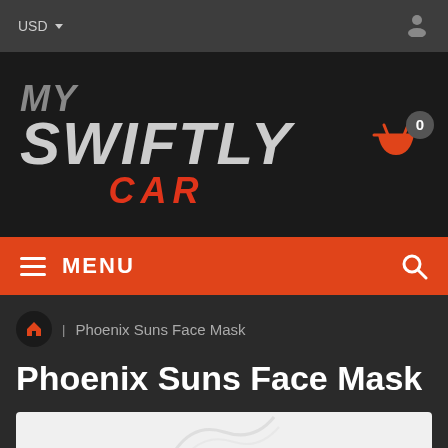USD
[Figure (logo): MY SWIFTLY CAR logo in white/grey and red italic bold text on black background, with shopping cart icon showing 0 items]
MENU
Phoenix Suns Face Mask (breadcrumb)
Phoenix Suns Face Mask
[Figure (photo): Product image partial view at bottom of page]